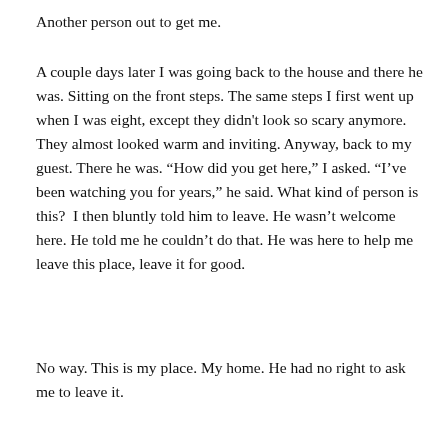Another person out to get me.
A couple days later I was going back to the house and there he was. Sitting on the front steps. The same steps I first went up when I was eight, except they didn't look so scary anymore. They almost looked warm and inviting. Anyway, back to my guest. There he was. “How did you get here,” I asked. “I’ve been watching you for years,” he said. What kind of person is this?  I then bluntly told him to leave. He wasn’t welcome here. He told me he couldn’t do that. He was here to help me leave this place, leave it for good.
No way. This is my place. My home. He had no right to ask me to leave it.